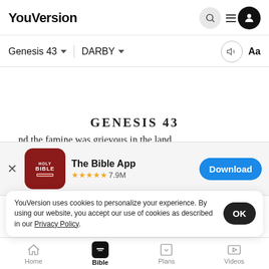YouVersion
Genesis 43 | DARBY
GENESIS 43
and the famine was grievous in the land
it came
grain which they had brought from Egypt, that their
[Figure (screenshot): App download banner for The Bible App with icon, 5 stars, 7.9M ratings, and a Download button]
YouVersion uses cookies to personalize your experience. By using our website, you accept our use of cookies as described in our Privacy Policy.
Home  Bible  Plans  Videos